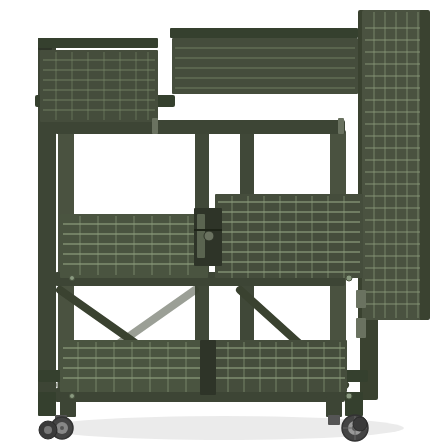[Figure (photo): A dark olive/charcoal colored metal wire shelving unit on casters (wheels). The unit has three wire grid shelves supported by a square tubular metal frame. On the right side of the unit there is a vertical wire panel/grid accessory. The shelves are made of welded wire mesh. The unit stands on four swivel caster wheels. The bottom two shelves have the wire inserts slightly pulled out revealing a sliding shelf mechanism. The overall finish is a dark hammered or powder-coated metallic gray-green color.]